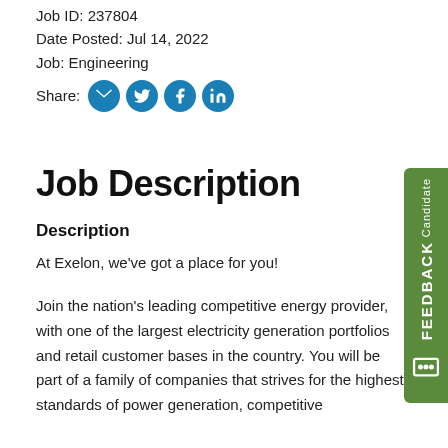Job ID: 237804
Date Posted: Jul 14, 2022
Job: Engineering
Share: [email] [twitter] [facebook] [linkedin]
Job Description
Description
At Exelon, we've got a place for you!
Join the nation's leading competitive energy provider, with one of the largest electricity generation portfolios and retail customer bases in the country. You will be part of a family of companies that strives for the highest standards of power generation, competitive